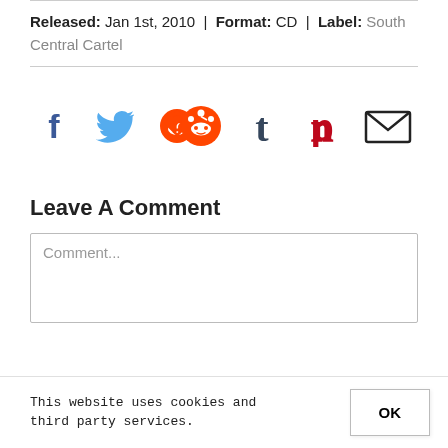Released: Jan 1st, 2010 | Format: CD | Label: South Central Cartel
[Figure (infographic): Social sharing icons: Facebook (dark blue f), Twitter (blue bird), Reddit (orange alien), Tumblr (dark blue t), Pinterest (red P), Email (envelope)]
Leave A Comment
Comment...
This website uses cookies and third party services.